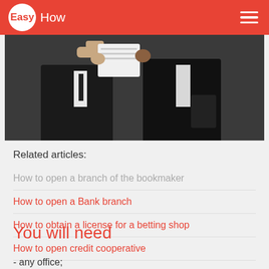EasyHow
[Figure (photo): Two people in dark suits reviewing documents/papers]
Related articles:
How to open a branch of the bookmaker
How to open a Bank branch
How to obtain a license for a betting shop
How to open credit cooperative
You will need
- any office;